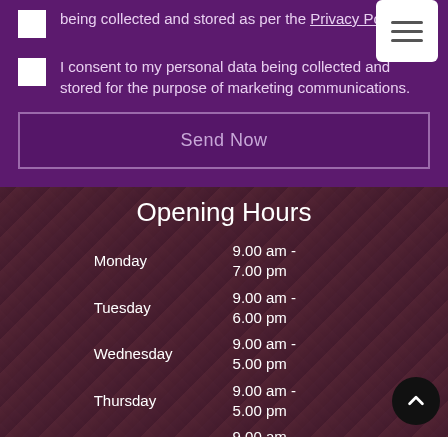being collected and stored as per the Privacy Policy.
I consent to my personal data being collected and stored for the purpose of marketing communications.
Send Now
Opening Hours
| Day | Hours |
| --- | --- |
| Monday | 9.00 am - 7.00 pm |
| Tuesday | 9.00 am - 6.00 pm |
| Wednesday | 9.00 am - 5.00 pm |
| Thursday | 9.00 am - 5.00 pm |
| Friday | 9.00 am - 7.00 pm |
| Saturday | 9.00 am - 2.00 pm |